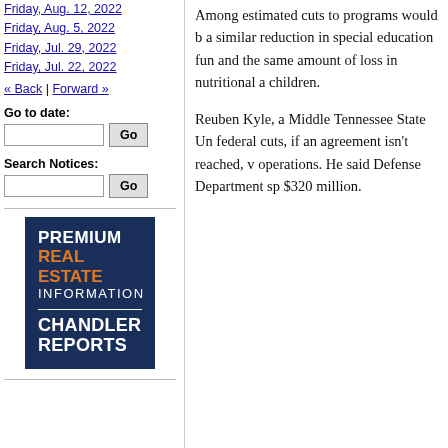Friday, Aug. 12, 2022
Friday, Aug. 5, 2022
Friday, Jul. 29, 2022
Friday, Jul. 22, 2022
« Back | Forward »
Go to date:
Search Notices:
[Figure (logo): Chandler Reports Premium Real Estate Information advertisement banner with dark navy background, orange 'REAL ESTATE' text, white 'PREMIUM' and 'INFORMATION' and 'CHANDLER REPORTS' text]
Among estimated cuts to programs would b a similar reduction in special education fun and the same amount of loss in nutritional a children.
Reuben Kyle, a Middle Tennessee State Un federal cuts, if an agreement isn't reached, v operations. He said Defense Department sp $320 million.